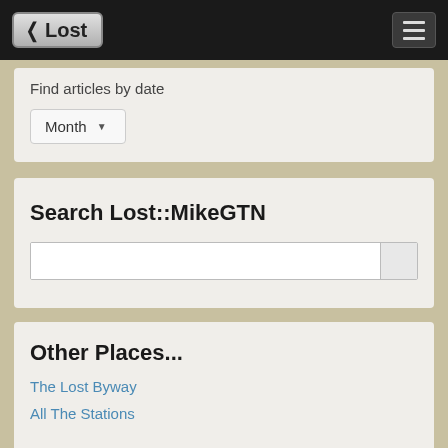Lost
Find articles by date
Month ▾
Search Lost::MikeGTN
Other Places...
The Lost Byway
All The Stations